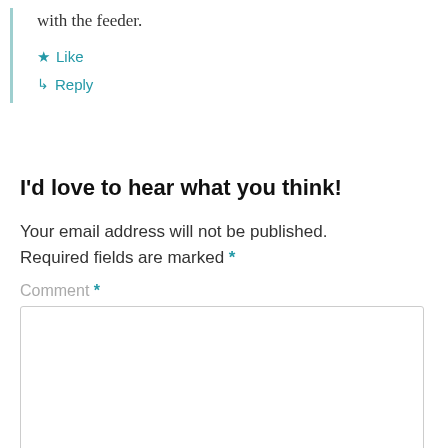with the feeder.
★ Like
↳ Reply
I'd love to hear what you think!
Your email address will not be published. Required fields are marked *
Comment *
[Figure (other): Empty comment text area input box with light border]